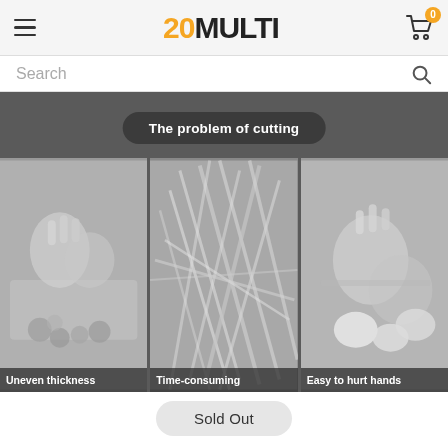20MULTI — hamburger menu, logo, cart with 0 items
Search
[Figure (screenshot): Dark grey background promotional section titled 'The problem of cutting' with three black-and-white photos: (1) Uneven thickness — hands cutting vegetables, (2) Time-consuming — shredded vegetables, (3) Easy to hurt hands — hands cutting white vegetable]
Sold Out